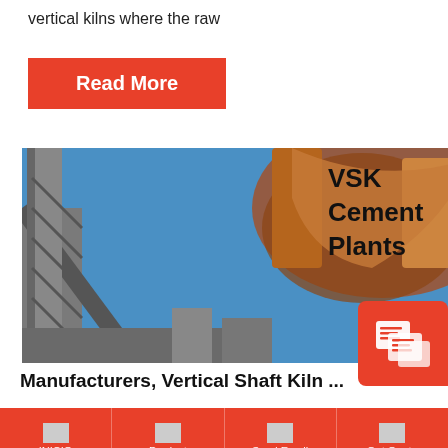vertical kilns where the raw
[Figure (other): Red 'Read More' button]
[Figure (photo): Industrial cement plant / vertical shaft kiln machinery with steel structures against blue sky]
VSK Cement Plants
Manufacturers, Vertical Shaft Kiln ...
INICIO   Product   Send Email   Get Quote